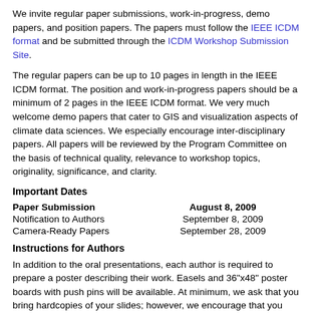We invite regular paper submissions, work-in-progress, demo papers, and position papers. The papers must follow the IEEE ICDM format and be submitted through the ICDM Workshop Submission Site.
The regular papers can be up to 10 pages in length in the IEEE ICDM format. The position and work-in-progress papers should be a minimum of 2 pages in the IEEE ICDM format. We very much welcome demo papers that cater to GIS and visualization aspects of climate data sciences. We especially encourage inter-disciplinary papers. All papers will be reviewed by the Program Committee on the basis of technical quality, relevance to workshop topics, originality, significance, and clarity.
Important Dates
| Paper Submission | August 8, 2009 |
| Notification to Authors | September 8, 2009 |
| Camera-Ready Papers | September 28, 2009 |
Instructions for Authors
In addition to the oral presentations, each author is required to prepare a poster describing their work. Easels and 36"x48" poster boards with push pins will be available. At minimum, we ask that you bring hardcopies of your slides; however, we encourage that you create a full poster. You may use this Poster Template or use a design of your own choosing.